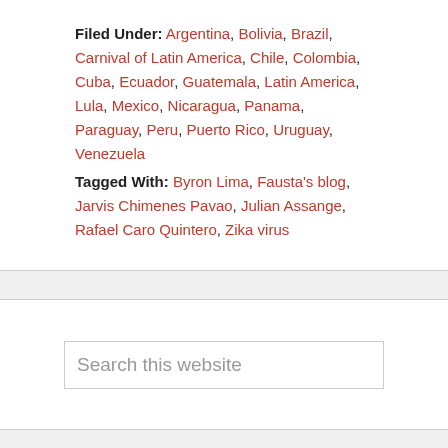Filed Under: Argentina, Bolivia, Brazil, Carnival of Latin America, Chile, Colombia, Cuba, Ecuador, Guatemala, Latin America, Lula, Mexico, Nicaragua, Panama, Paraguay, Peru, Puerto Rico, Uruguay, Venezuela
Tagged With: Byron Lima, Fausta's blog, Jarvis Chimenes Pavao, Julian Assange, Rafael Caro Quintero, Zika virus
Search this website